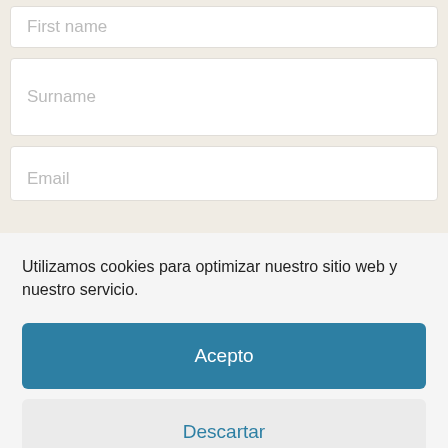First name
Surname
Email
Utilizamos cookies para optimizar nuestro sitio web y nuestro servicio.
Acepto
Descartar
Preferencias
Cookies policy   Privacy Policy